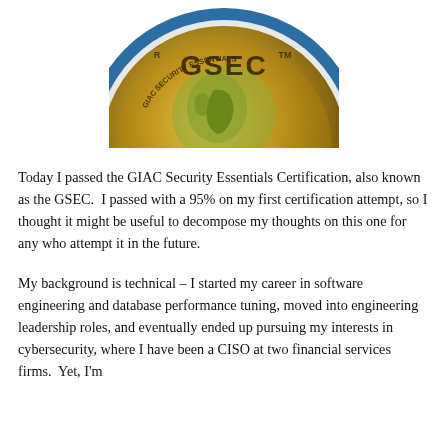[Figure (logo): GSEC GIAC Security Essentials Certification gold badge/medal with blue ring and globe, partially cropped at top]
Today I passed the GIAC Security Essentials Certification, also known as the GSEC.  I passed with a 95% on my first certification attempt, so I thought it might be useful to decompose my thoughts on this one for any who attempt it in the future.
My background is technical – I started my career in software engineering and database performance tuning, moved into engineering leadership roles, and eventually ended up pursuing my interests in cybersecurity, where I have been a CISO at two financial services firms.  Yet, I'm